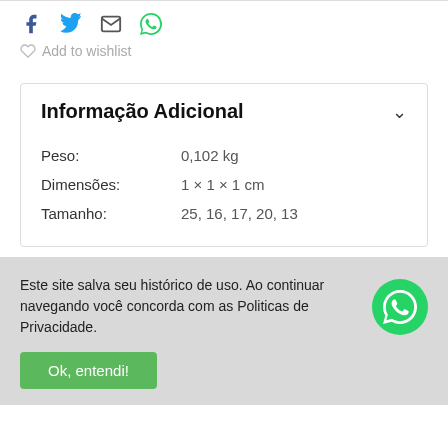[Figure (other): Social share icons: Facebook, Twitter, Email, WhatsApp]
Add to wishlist
| Peso: | 0,102 kg |
| Dimensões: | 1 × 1 × 1 cm |
| Tamanho: | 25, 16, 17, 20, 13 |
Este site salva seu histórico de uso. Ao continuar navegando você concorda com as Politicas de Privacidade.
Ok, entendi!